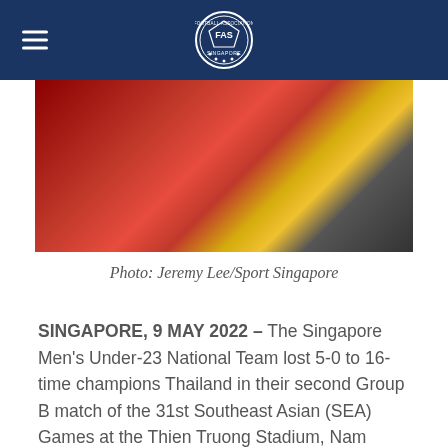FAS Football Association of Singapore — navigation bar with logo
[Figure (photo): Football players in red and yellow jerseys walking on pitch, with a referee in black, at a night match]
Photo: Jeremy Lee/Sport Singapore
SINGAPORE, 9 MAY 2022 – The Singapore Men's Under-23 National Team lost 5-0 to 16-time champions Thailand in their second Group B match of the 31st Southeast Asian (SEA) Games at the Thien Truong Stadium, Nam Dinh.